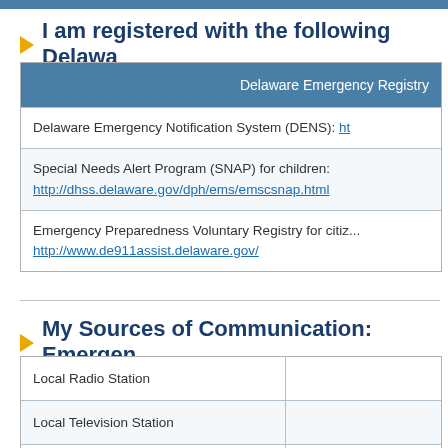I am registered with the following Delaware
| Delaware Emergency Registry |
| --- |
| Delaware Emergency Notification System (DENS): ht... |
| Special Needs Alert Program (SNAP) for children:
http://dhss.delaware.gov/dph/ems/emscsnap.html |
| Emergency Preparedness Voluntary Registry for citiz...
http://www.de911assist.delaware.gov/ |
My Sources of Communication: Emergen
|  |  |
| --- | --- |
| Local Radio Station |  |
| Local Television Station |  |
| NOAA Radio |  |